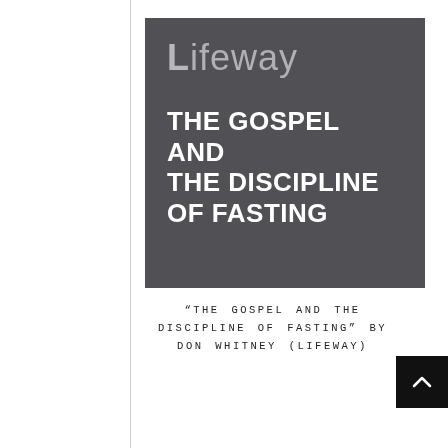[Figure (logo): Lifeway dark grey square cover block with Lifeway logo in grey and white bold text reading THE GOSPEL AND THE DISCIPLINE OF FASTING]
“THE GOSPEL AND THE DISCIPLINE OF FASTING” BY DON WHITNEY (LIFEWAY)